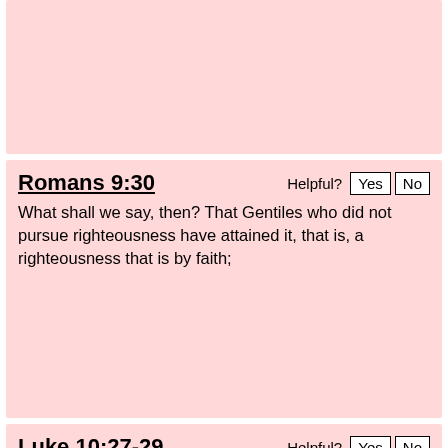[Figure (other): Partial pink card at top of page, content not visible]
Romans 9:30
What shall we say, then? That Gentiles who did not pursue righteousness have attained it, that is, a righteousness that is by faith;
Luke 10:27-29
And he answered, “You shall love the Lord your God with all your heart and with all your soul and with all your strength and with all your mind, and your neighbor as yourself.” And he said to him, “You have answered correctly; do this, and you will live.” But he, desiring to justify himself,